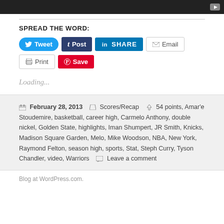[Figure (screenshot): Dark video thumbnail bar with YouTube play button icon in top right corner]
SPREAD THE WORD:
[Figure (screenshot): Social sharing buttons: Tweet (blue), Post (dark blue), SHARE (LinkedIn blue), Email (white/gray), Print (white/gray), Save (red/Pinterest)]
Loading...
February 28, 2013  Scores/Recap  54 points, Amar'e Stoudemire, basketball, career high, Carmelo Anthony, double nickel, Golden State, highlights, Iman Shumpert, JR Smith, Knicks, Madison Square Garden, Melo, Mike Woodson, NBA, New York, Raymond Felton, season high, sports, Stat, Steph Curry, Tyson Chandler, video, Warriors  Leave a comment
Blog at WordPress.com.